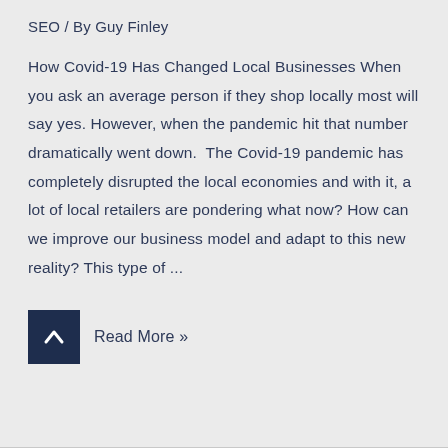SEO / By Guy Finley
How Covid-19 Has Changed Local Businesses When you ask an average person if they shop locally most will say yes. However, when the pandemic hit that number dramatically went down.  The Covid-19 pandemic has completely disrupted the local economies and with it, a lot of local retailers are pondering what now? How can we improve our business model and adapt to this new reality? This type of ...
Read More »